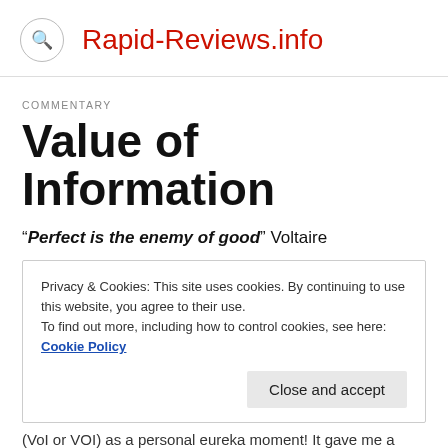Rapid-Reviews.info
COMMENTARY
Value of Information
“Perfect is the enemy of good” Voltaire
Privacy & Cookies: This site uses cookies. By continuing to use this website, you agree to their use.
To find out more, including how to control cookies, see here: Cookie Policy
Close and accept
(VoI or VOI) as a personal eureka moment! It gave me a